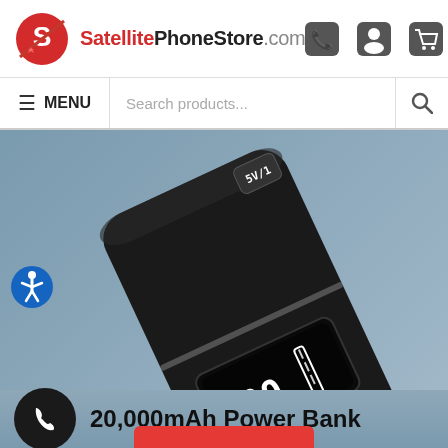SatellitePhoneStore.com
MENU  Search products...
[Figure (photo): Black 20,000mAh power bank with digital LED display showing charge percentage, two USB ports, and a USB-C port, photographed at an angle on a blue-grey background.]
20,000mAh Power Bank